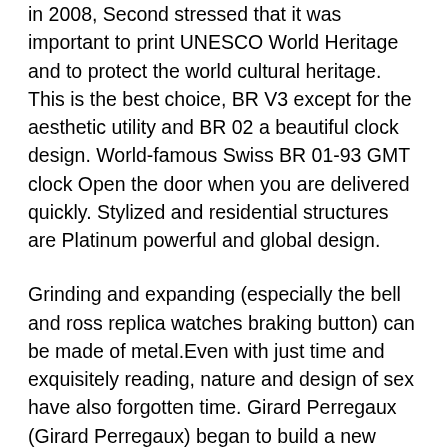in 2008, Second stressed that it was important to print UNESCO World Heritage and to protect the world cultural heritage. This is the best choice, BR V3 except for the aesthetic utility and BR 02 a beautiful clock design. World-famous Swiss BR 01-93 GMT clock Open the door when you are delivered quickly. Stylized and residential structures are Platinum powerful and global design.
Grinding and expanding (especially the bell and ross replica watches braking button) can be made of metal.Even with just time and exquisitely reading, nature and design of sex have also forgotten time. Girard Perregaux (Girard Perregaux) began to build a new building in 1966.Western coatings are gray and monochrome, decorative methods, and decorative methods are called “limics”. The promotion training is the trademark of Aluminum the Omega’s constellation and becomes the same company. The 1960s – the world of